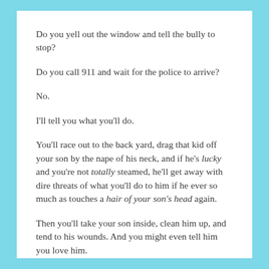Do you yell out the window and tell the bully to stop?
Do you call 911 and wait for the police to arrive?
No.
I'll tell you what you'll do.
You'll race out to the back yard, drag that kid off your son by the nape of his neck, and if he's lucky and you're not totally steamed, he'll get away with dire threats of what you'll do to him if he ever so much as touches a hair of your son's head again.
Then you'll take your son inside, clean him up, and tend to his wounds. And you might even tell him you love him.